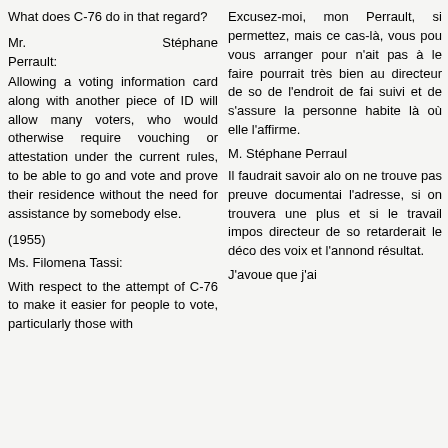What does C-76 do in that regard?
Mr. Stéphane Perrault:
Allowing a voting information card along with another piece of ID will allow many voters, who would otherwise require vouching or attestation under the current rules, to be able to go and vote and prove their residence without the need for assistance by somebody else.
(1955)
Ms. Filomena Tassi:
With respect to the attempt of C-76 to make it easier for people to vote, particularly those with
Excusez-moi, mon Perrault, si permettez, mais ce cas-là, vous pou vous arranger pour n'ait pas à le faire pourrait très bien au directeur de so de l'endroit de fai suivi et de s'assure la personne habite là où elle l'affirme.
M. Stéphane Perraul
Il faudrait savoir alo on ne trouve pas preuve documentai l'adresse, si on trouvera une plus et si le travail impos directeur de so retarderait le déco des voix et l'annond résultat.
J'avoue que j'ai